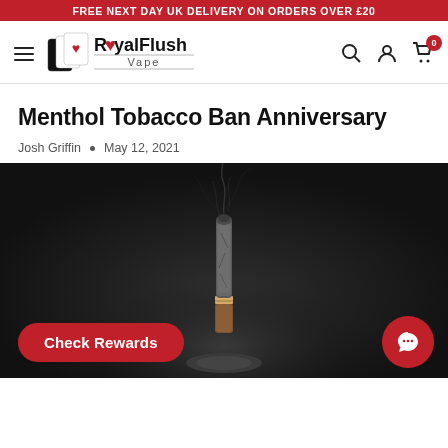FREE NEXT DAY UK DELIVERY ON ORDERS OVER £20
[Figure (logo): RoyalFlush Vape logo with playing cards icon and red/black text]
Menthol Tobacco Ban Anniversary
Josh Griffin  •  May 12, 2021
[Figure (photo): A burnt-down cigarette standing upright on ash against a dark background, with faint smoke wisps]
Check Rewards